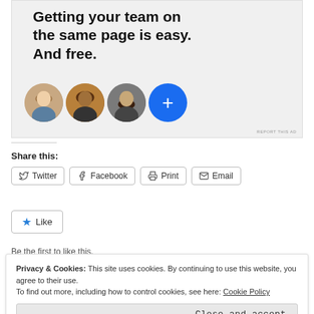[Figure (screenshot): Advertisement banner with gray background showing bold text 'Getting your team on the same page is easy. And free.' with three person avatar circles and one blue plus button circle below.]
Share this:
Twitter  Facebook  Print  Email
Like
Be the first to like this.
Privacy & Cookies: This site uses cookies. By continuing to use this website, you agree to their use.
To find out more, including how to control cookies, see here: Cookie Policy
Close and accept